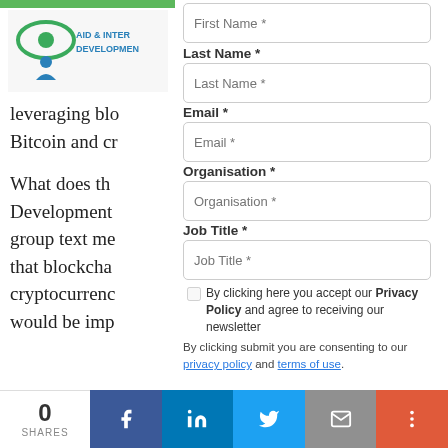[Figure (logo): Aid & International Development Forum logo with green/teal eye icon and blue person figure, text reads AID & INTERNATIONAL DEVELOPMENT]
leveraging blo Bitcoin and cr
What does th Development group text me that blockcha cryptocurrenc would be imp
Air-Drops - Fa blockchain ba
First Name *
Last Name *
Email *
Organisation *
Job Title *
By clicking here you accept our Privacy Policy and agree to receiving our newsletter
By clicking submit you are consenting to our privacy policy and terms of use.
0 SHARES